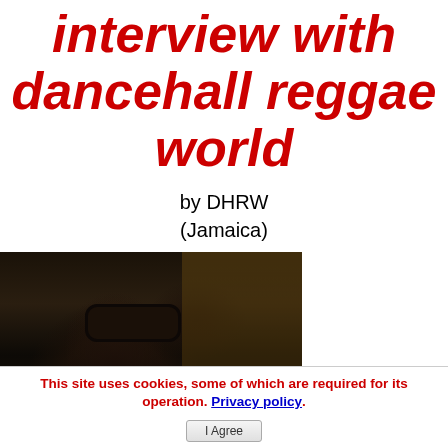interview with dancehall reggae world
by DHRW
(Jamaica)
[Figure (photo): Photo of a person wearing dark sunglasses with short hair, outdoors at night with lights and another person visible in the background.]
This site uses cookies, some of which are required for its operation. Privacy policy. I Agree